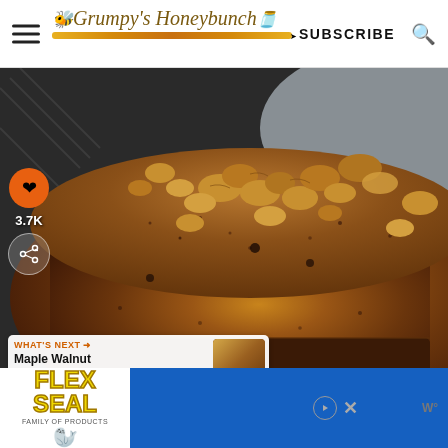Grumpy's Honeybunch — SUBSCRIBE
[Figure (photo): Close-up photo of a walnut-topped chocolate banana bread loaf on a wire cooling rack, with social share icons (heart, 3.7K, share) on the left side and a 'What's Next' thumbnail for 'Maple Walnut Biscotti with...' in the bottom left]
[Figure (screenshot): Advertisement banner for Flex Seal product at the bottom of the page, with blue background, close and play controls, and a 'W' branding logo]